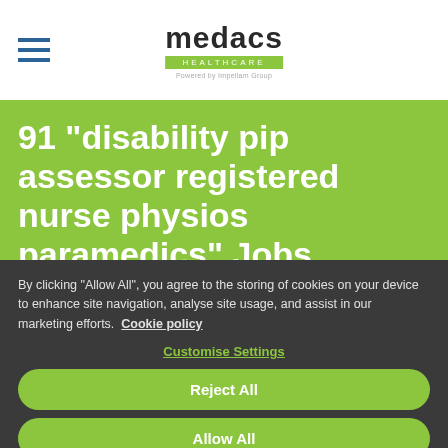[Figure (logo): Medacs Healthcare logo with hamburger menu icon. Logo shows 'medacs' in bold with green 'HEALTHCARE' bar and 'Powered by Impellam Group' tagline.]
91 "disability pip assessor registered nurse physios paramedics" Jobs
Sort:
By clicking “Allow All”, you agree to the storing of cookies on your device to enhance site navigation, analyse site usage, and assist in our marketing efforts.  Cookie policy
Customise Settings
Reject All
Allow All